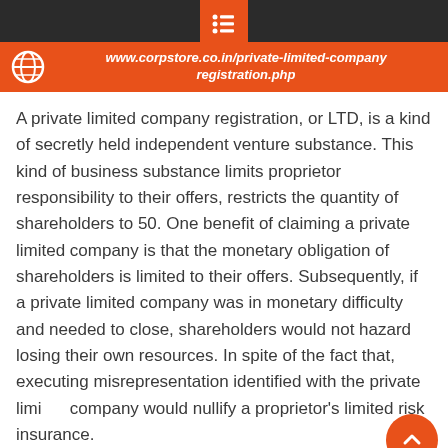www.corpstore.co.in/private-limited-company-registration.php
A private limited company registration, or LTD, is a kind of secretly held independent venture substance. This kind of business substance limits proprietor responsibility to their offers, restricts the quantity of shareholders to 50. One benefit of claiming a private limited company is that the monetary obligation of shareholders is limited to their offers. Subsequently, if a private limited company was in monetary difficulty and needed to close, shareholders would not hazard losing their own resources. In spite of the fact that, executing misrepresentation identified with the private limited company would nullify a proprietor's limited risk insurance.